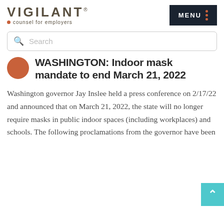VIGILANT • counsel for employers
WASHINGTON: Indoor mask mandate to end March 21, 2022
Washington governor Jay Inslee held a press conference on 2/17/22 and announced that on March 21, 2022, the state will no longer require masks in public indoor spaces (including workplaces) and schools. The following proclamations from the governor have been